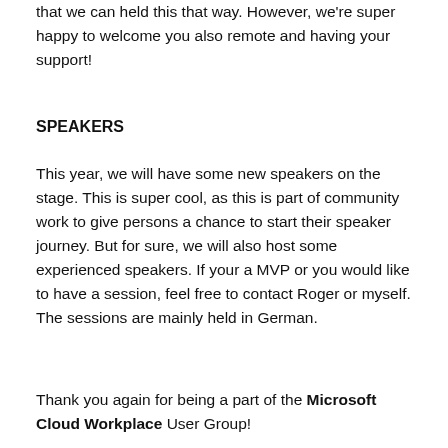that we can held this that way. However, we're super happy to welcome you also remote and having your support!
SPEAKERS
This year, we will have some new speakers on the stage. This is super cool, as this is part of community work to give persons a chance to start their speaker journey. But for sure, we will also host some experienced speakers. If your a MVP or you would like to have a session, feel free to contact Roger or myself. The sessions are mainly held in German.
Thank you again for being a part of the Microsoft Cloud Workplace User Group!